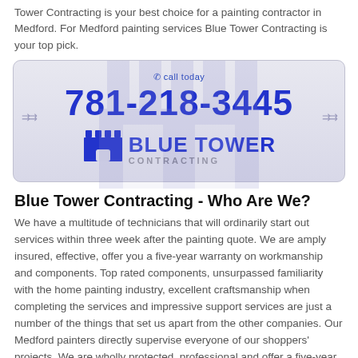Tower Contracting is your best choice for a painting contractor in Medford. For Medford painting services Blue Tower Contracting is your top pick.
[Figure (logo): Blue Tower Contracting banner with phone number 781-218-3445, call today text, castle logo icon, and brand name Blue Tower Contracting]
Blue Tower Contracting - Who Are We?
We have a multitude of technicians that will ordinarily start out services within three week after the painting quote. We are amply insured, effective, offer you a five-year warranty on workmanship and components. Top rated components, unsurpassed familiarity with the home painting industry, excellent craftsmanship when completing the services and impressive support services are just a number of the things that set us apart from the other companies. Our Medford painters directly supervise everyone of our shoppers' projects. We are wholly protected, professional and offer a five-year